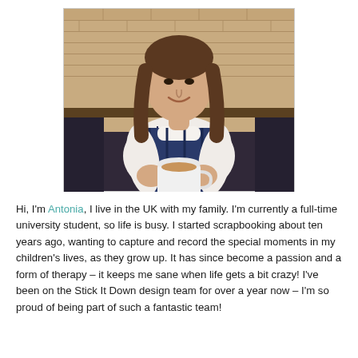[Figure (photo): A woman sitting in a cafe or restaurant, smiling and holding a white mug. She is wearing a white and navy blue striped top/vest. The background shows a brick wall and a dark bench seat.]
Hi, I'm Antonia, I live in the UK with my family. I'm currently a full-time university student, so life is busy. I started scrapbooking about ten years ago, wanting to capture and record the special moments in my children's lives, as they grow up. It has since become a passion and a form of therapy – it keeps me sane when life gets a bit crazy! I've been on the Stick It Down design team for over a year now – I'm so proud of being part of such a fantastic team!